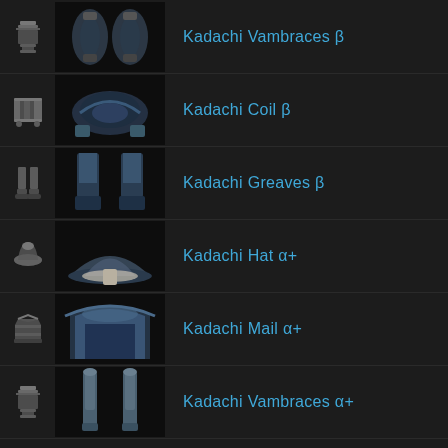Kadachi Vambraces β
Kadachi Coil β
Kadachi Greaves β
Kadachi Hat α+
Kadachi Mail α+
Kadachi Vambraces α+